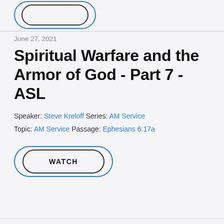[Figure (other): Partial view of a watch/play button with blue outer border and dark inner border, cropped at top of page]
June 27, 2021
Spiritual Warfare and the Armor of God - Part 7 - ASL
Speaker: Steve Kreloff Series: AM Service
Topic: AM Service Passage: Ephesians 6:17a
[Figure (other): WATCH button with blue outer rounded border and dark gray inner rounded border]